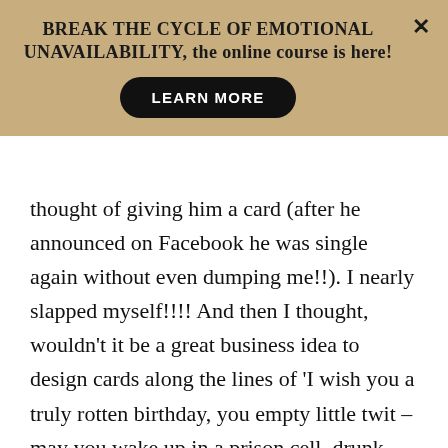BREAK THE CYCLE OF EMOTIONAL UNAVAILABILITY, the online course is here!
thought of giving him a card (after he announced on Facebook he was single again without even dumping me!!). I nearly slapped myself!!!! And then I thought, wouldn't it be a great business idea to design cards along the lines of 'I wish you a truly rotten birthday, you empty little twit – may you wake up in a prison cell, drunk and covered in poo'? Masses of